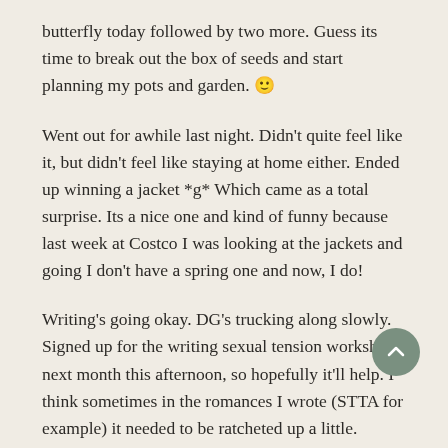butterfly today followed by two more. Guess its time to break out the box of seeds and start planning my pots and garden. 🙂
Went out for awhile last night. Didn't quite feel like it, but didn't feel like staying at home either. Ended up winning a jacket *g* Which came as a total surprise. Its a nice one and kind of funny because last week at Costco I was looking at the jackets and going I don't have a spring one and now, I do!
Writing's going okay. DG's trucking along slowly. Signed up for the writing sexual tension workshop next month this afternoon, so hopefully it'll help. I think sometimes in the romances I wrote (STTA for example) it needed to be ratcheted up a little.
PS — You may have noticed the update to the blog. In a